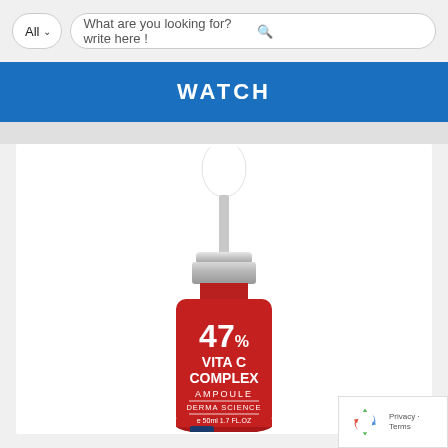[Figure (screenshot): Search bar with 'All' dropdown and search input placeholder text 'What are you looking for? write here !']
WATCH
[Figure (photo): Product photo of a red dropper bottle labeled '47% VITA C COMPLEX AMPOULE DERMA SCIENCE e 50ml 1.7 FL.OZ HISTOLAB' with a white rubber dropper top and silver metallic collar]
Privacy · Terms